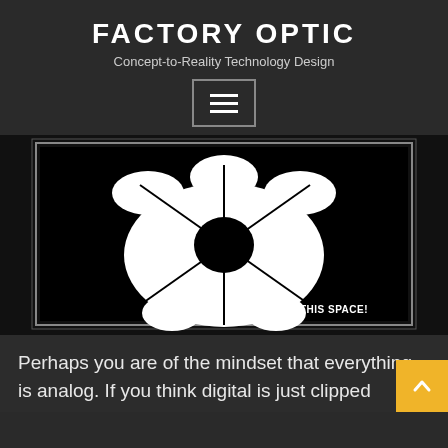FACTORY OPTIC
Concept-to-Reality Technology Design
[Figure (logo): Black and white gear/cog logo image with 'WATCH THIS SPACE!' text in lower right corner, framed with a white border]
Perhaps you are of the mindset that everything is analog. If you think digital is just clipped